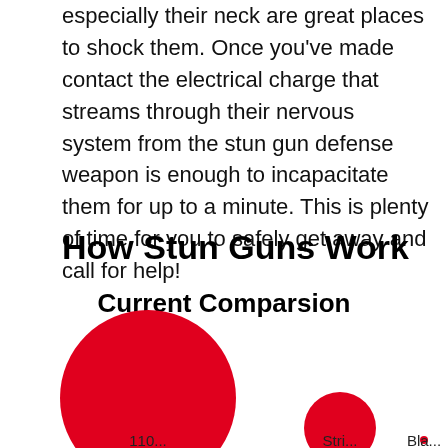especially their neck are great places to shock them. Once you've made contact the electrical charge that streams through their nervous system from the stun gun defense weapon is enough to incapacitate them for up to a minute. This is plenty of time for you to safely get away and call for help!
How Stun Guns Work
[Figure (bubble-chart): Bubble chart titled 'Current Comparsion' showing three red circles of different sizes representing current comparison. The leftmost and largest circle is visible, a medium circle partially visible center-right, and a tiny dot far right. Labels partially cut off at bottom: appears to show '110...' labels.]